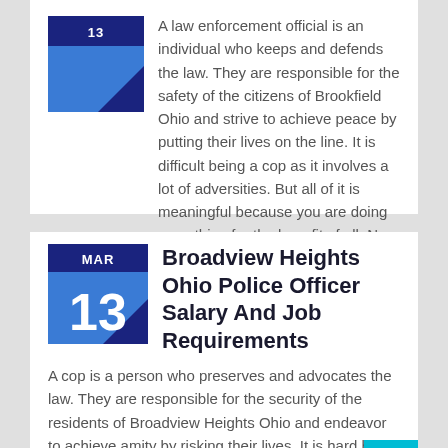A law enforcement official is an individual who keeps and defends the law. They are responsible for the safety of the citizens of Brookfield Ohio and strive to achieve peace by putting their lives on the line. It is difficult being a cop as it involves a lot of adversities. But all of it is meaningful because you are doing everything for the benefit of all. Now then, let us look at how one can become a cop.
[Figure (other): Calendar icon showing MAR 13 with dark navy top bar and blue body with diagonal shadow]
Broadview Heights Ohio Police Officer Salary And Job Requirements
A cop is a person who preserves and advocates the law. They are responsible for the security of the residents of Broadview Heights Ohio and endeavor to achieve amity by risking their lives. It is hard being a law enforcement officer